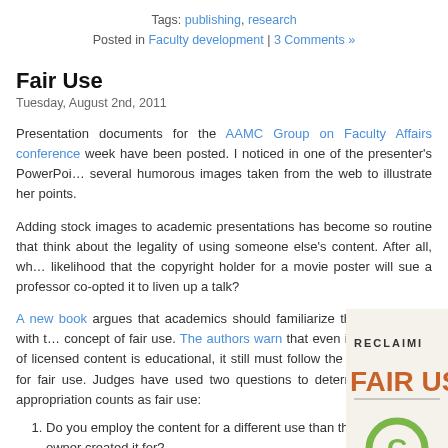Tags: publishing, research
Posted in Faculty development | 3 Comments »
Fair Use
Tuesday, August 2nd, 2011
Presentation documents for the AAMC Group on Faculty Affairs conference week have been posted. I noticed in one of the presenter's PowerPoint several humorous images taken from the web to illustrate her points.
Adding stock images to academic presentations has become so routine that think about the legality of using someone else's content. After all, what likelihood that the copyright holder for a movie poster will sue a professor co-opted it to liven up a talk?
A new book argues that academics should familiarize themselves with the concept of fair use. The authors warn that even if your use of licensed content is educational, it still must follow the guidelines for fair use. Judges have used two questions to determine if an appropriation counts as fair use:
[Figure (photo): Book cover showing 'RECLAIMING FAIR USE' with a copyright symbol in green]
Do you employ the content for a different use than the owner created it for?
Do you use enough of the content to achieve that new purpose?